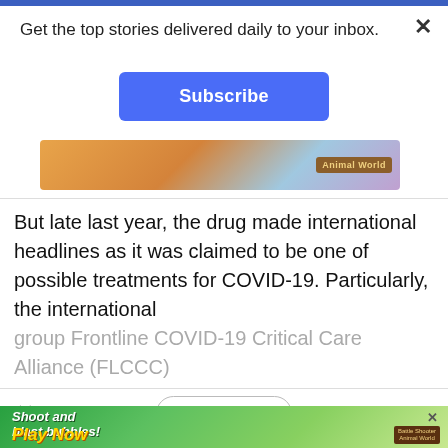Get the top stories delivered daily to your inbox.
[Figure (screenshot): Blue Subscribe button]
[Figure (screenshot): Partial game advertisement banner strip with warm orange and colorful background]
But late last year, the drug made international headlines as it was claimed to be one of possible treatments for COVID-19. Particularly, the international group Frontline COVID-19 Critical Care Alliance (FLCCC)
[Figure (screenshot): Read More button with chevron and X close button on left]
[Figure (screenshot): Game advertisement: Shoot and blast bubbles! Play Now - Battle Shooter Animal World]